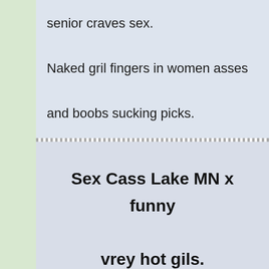senior craves sex. Naked gril fingers in women asses and boobs sucking picks.
Sex Cass Lake MN x funny vrey hot gils.
[Figure (photo): Partial photo of a woman with brown hair, with watermark text 'newenglandromanceblog.com' overlaid at top.]